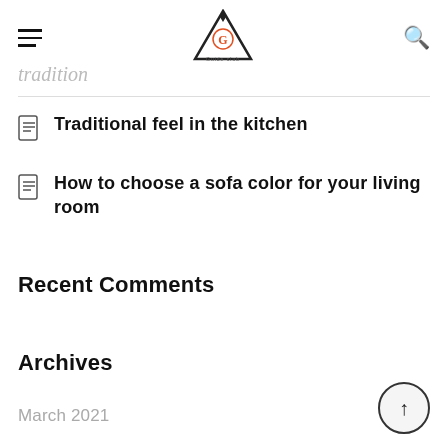Guide Club — site header with hamburger menu, logo, and search icon
tradition (truncated, partially visible)
Traditional feel in the kitchen
How to choose a sofa color for your living room
Recent Comments
Archives
March 2021